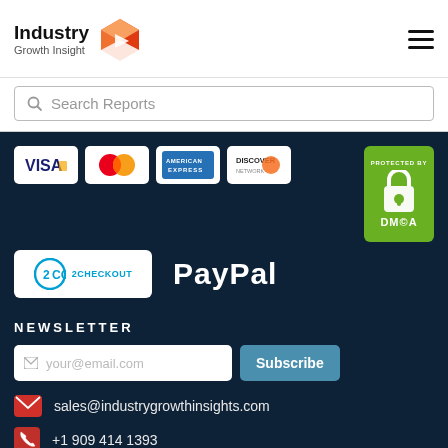[Figure (logo): Industry Growth Insight logo with red 3D box icon]
Search Reports
[Figure (infographic): Payment method badges: VISA, MasterCard, American Express, Discover, 2CHECKOUT, PayPal, and DMCA Protected badge]
NEWSLETTER
your@email.com
Subscribe
sales@industrygrowthinsights.com
+1 909 414 1393
[Figure (infographic): Social media icons: Facebook, Twitter, LinkedIn, and one more]